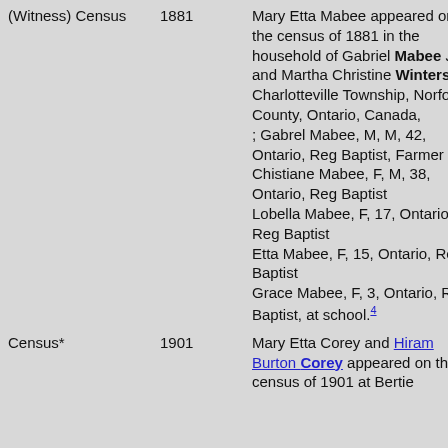| Event | Year | Description |
| --- | --- | --- |
| (Witness) Census | 1881 | Mary Etta Mabee appeared on the census of 1881 in the household of Gabriel Mabee Jr and Martha Christine Winters at Charlotteville Township, Norfolk County, Ontario, Canada,
; Gabrel Mabee, M, M, 42, Ontario, Reg Baptist, Farmer
Chistiane Mabee, F, M, 38, Ontario, Reg Baptist
Lobella Mabee, F, 17, Ontario, Reg Baptist
Etta Mabee, F, 15, Ontario, Reg Baptist
Grace Mabee, F, 3, Ontario, Reg Baptist, at school.4 |
| Census* | 1901 | Mary Etta Corey and Hiram Burton Corey appeared on the census of 1901 at Bertie |